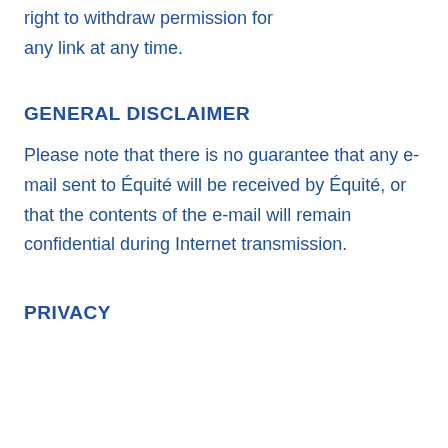right to withdraw permission for any link at any time.
GENERAL DISCLAIMER
Please note that there is no guarantee that any e-mail sent to Équité will be received by Équité, or that the contents of the e-mail will remain confidential during Internet transmission.
PRIVACY